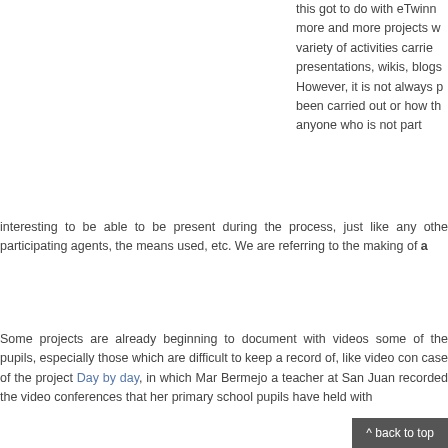this got to do with eTwinn more and more projects w variety of activities carrie presentations, wikis, blogs However, it is not always p been carried out or how th anyone who is not part interesting to be able to be present during the process, just like any othe participating agents, the means used, etc. We are referring to the making of a
Some projects are already beginning to document with videos some of the pupils, especially those which are difficult to keep a record of, like video con case of the project Day by day, in which Mar Bermejo a teacher at San Juan recorded the video conferences that her primary school pupils have held with
[Figure (other): Checkbox icon followed by hyperlink text: Video_Mar_Bermejo]
^ back to top